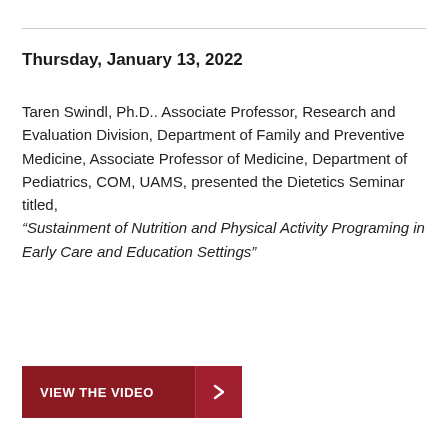Thursday, January 13, 2022
Taren Swindl, Ph.D.. Associate Professor, Research and Evaluation Division, Department of Family and Preventive Medicine, Associate Professor of Medicine, Department of Pediatrics, COM, UAMS, presented the Dietetics Seminar titled, “Sustainment of Nutrition and Physical Activity Programing in Early Care and Education Settings”
VIEW THE VIDEO